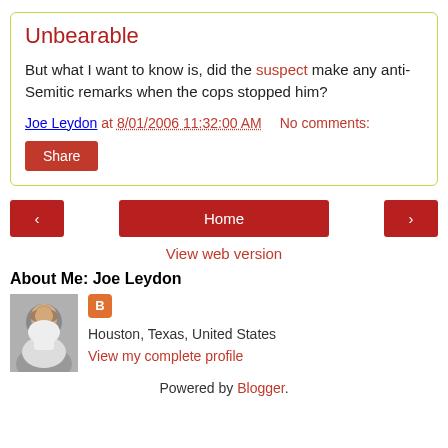Unbearable
But what I want to know is, did the suspect make any anti-Semitic remarks when the cops stopped him?
Joe Leydon at 8/01/2006 11:32:00 AM    No comments:
Share
< Home >
View web version
About Me: Joe Leydon
Houston, Texas, United States
View my complete profile
Powered by Blogger.